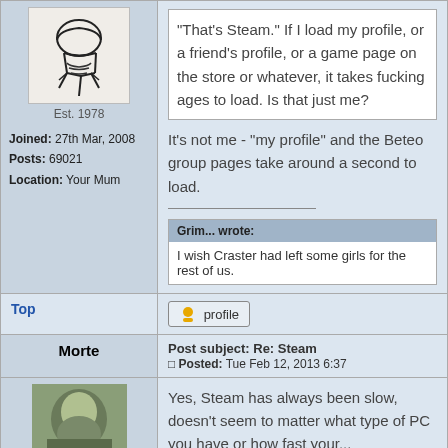[Figure (illustration): Forum user avatar - hand-drawn style illustration with Est. 1978 caption]
Est. 1978
Joined: 27th Mar, 2008
Posts: 69021
Location: Your Mum
"That's Steam." If I load my profile, or a friend's profile, or a game page on the store or whatever, it takes fucking ages to load. Is that just me?
It's not me - "my profile" and the Beteo group pages take around a second to load.
Grim... wrote:
I wish Craster had left some girls for the rest of us.
Top
profile
Post subject: Re: Steam
Posted: Tue Feb 12, 2013 6:37
Morte
[Figure (photo): Forum avatar photo for user Morte]
Yes, Steam has always been slow, doesn't seem to matter what type of PC you have or how fast your...